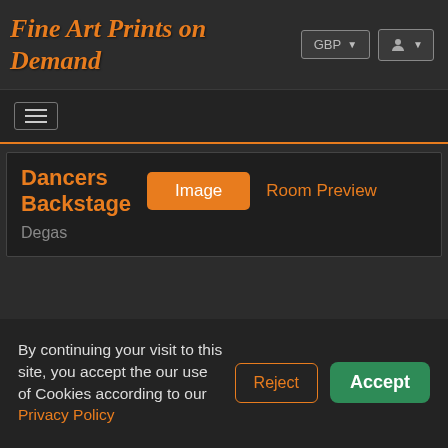Fine Art Prints on Demand
Dancers Backstage
Degas
Image
Room Preview
By continuing your visit to this site, you accept the our use of Cookies according to our Privacy Policy